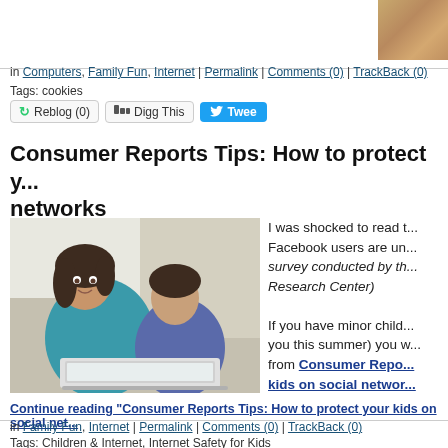[Figure (photo): Decorative image top right corner - brown/wooden surface]
in Computers, Family Fun, Internet | Permalink | Comments (0) | TrackBack (0)
Tags: cookies
Reblog (0) | Digg This | Tweet
Consumer Reports Tips: How to protect your kids on social networks
[Figure (photo): A woman and a young boy sitting on a couch looking at a laptop together]
I was shocked to read that Facebook users are un... (survey conducted by the Research Center)
If you have minor children (or visiting you this summer) you will love tips from Consumer Reports on how to protect kids on social networks
Continue reading "Consumer Reports Tips: How to protect your kids on social net..."
in Family Fun, Internet | Permalink | Comments (0) | TrackBack (0)
Tags: Children & Internet, Internet Safety for Kids